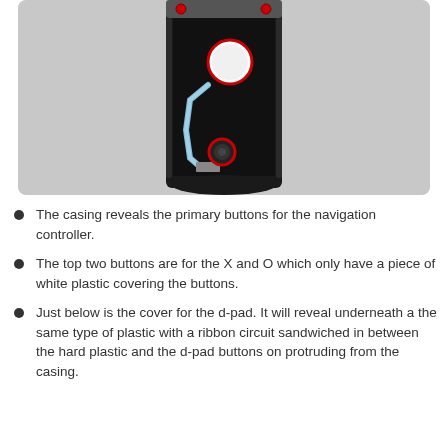[Figure (photo): An electronic device casing opened up, showing internal components including a ribbon cable, buttons for the navigation controller (X, O, and d-pad), and red-circled screw/button markers on a black plastic housing against a grey background.]
The casing reveals the primary buttons for the navigation controller.
The top two buttons are for the X and O which only have a piece of white plastic covering the buttons.
Just below is the cover for the d-pad. It will reveal underneath a the same type of plastic with a ribbon circuit sandwiched in between the hard plastic and the d-pad buttons on protruding from the casing.